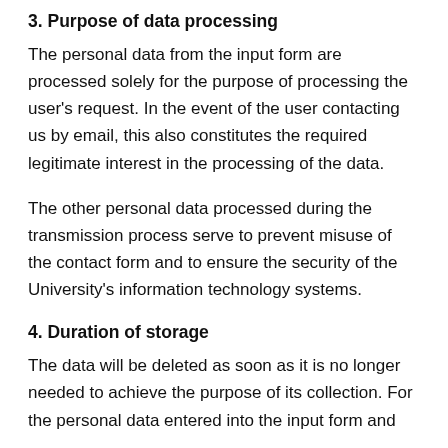3. Purpose of data processing
The personal data from the input form are processed solely for the purpose of processing the user's request. In the event of the user contacting us by email, this also constitutes the required legitimate interest in the processing of the data.
The other personal data processed during the transmission process serve to prevent misuse of the contact form and to ensure the security of the University's information technology systems.
4. Duration of storage
The data will be deleted as soon as it is no longer needed to achieve the purpose of its collection. For the personal data entered into the input form and